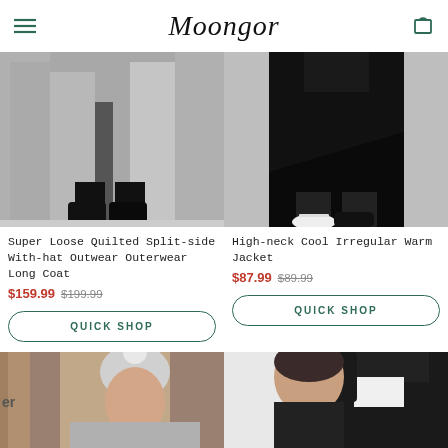Moongor
[Figure (photo): Lower body of person in long quilted silver/grey coat with split side, wearing black boots]
Super Loose Quilted Split-side With-hat Outwear Outerwear Long Coat
$159.99   $199.99
QUICK SHOP
[Figure (photo): Lower body of person in black high-neck irregular jacket/skirt with white sneakers]
High-neck Cool Irregular Warm Jacket
$87.99   $89.99
QUICK SHOP
[Figure (photo): Person wearing grey knit pom-pom hat and sunglasses in city setting]
[Figure (photo): Woman in black jacket against light background]